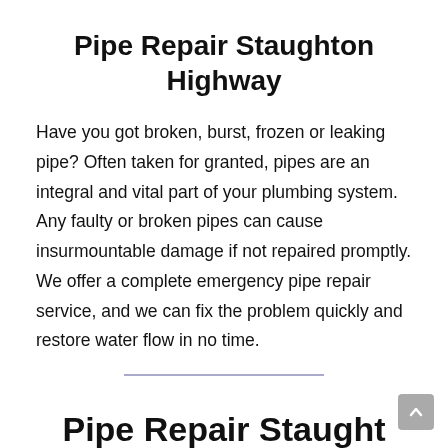Pipe Repair Staughton Highway
Have you got broken, burst, frozen or leaking pipe? Often taken for granted, pipes are an integral and vital part of your plumbing system. Any faulty or broken pipes can cause insurmountable damage if not repaired promptly. We offer a complete emergency pipe repair service, and we can fix the problem quickly and restore water flow in no time.
Pipe Repair Staughton...